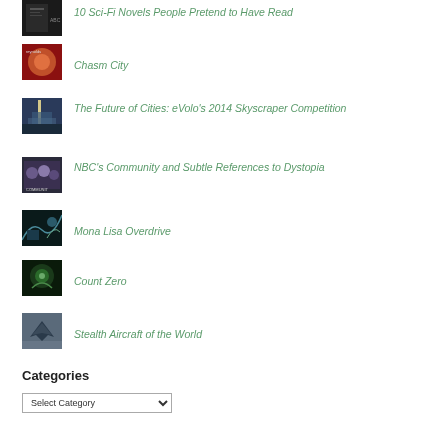10 Sci-Fi Novels People Pretend to Have Read
Chasm City
The Future of Cities: eVolo's 2014 Skyscraper Competition
NBC's Community and Subtle References to Dystopia
Mona Lisa Overdrive
Count Zero
Stealth Aircraft of the World
Categories